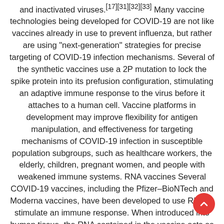and inactivated viruses.[17][31][32][33] Many vaccine technologies being developed for COVID-19 are not like vaccines already in use to prevent influenza, but rather are using "next-generation" strategies for precise targeting of COVID-19 infection mechanisms. Several of the synthetic vaccines use a 2P mutation to lock the spike protein into its prefusion configuration, stimulating an adaptive immune response to the virus before it attaches to a human cell. Vaccine platforms in development may improve flexibility for antigen manipulation, and effectiveness for targeting mechanisms of COVID-19 infection in susceptible population subgroups, such as healthcare workers, the elderly, children, pregnant women, and people with weakened immune systems. RNA vaccines Several COVID-19 vaccines, including the Pfizer–BioNTech and Moderna vaccines, have been developed to use RNA to stimulate an immune response. When introduced into human tissue, the RNA contained in the vaccine acts as messenger RNA (mRNA) to cause cells to build the SARS-CoV-2 spike protein. This teaches the body how to identify and destroy the corresponding